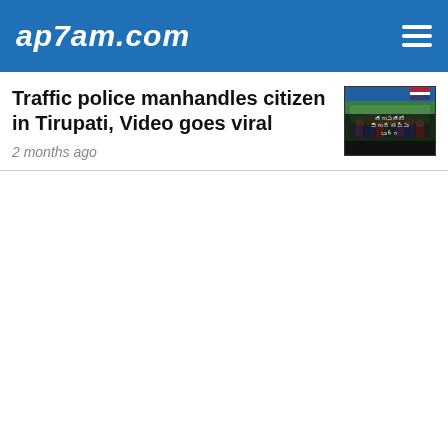ap7am.com
Traffic police manhandles citizen in Tirupati, Video goes viral
2 months ago
[Figure (photo): Thumbnail image showing a crowd scene, likely related to the Tirupati traffic police incident, with Telugu text overlay]